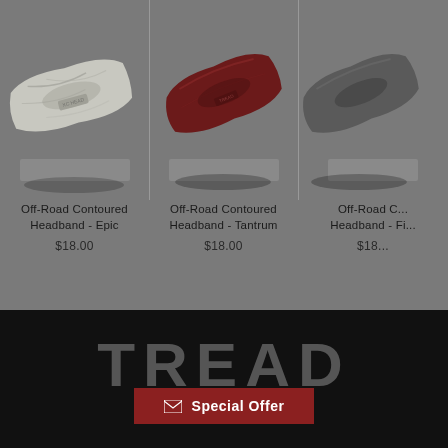[Figure (photo): Product photo of Off-Road Contoured Headband in Epic (light marble/grey pattern) worn/displayed at an angle on grey background]
Off-Road Contoured Headband - Epic
$18.00
[Figure (photo): Product photo of Off-Road Contoured Headband in Tantrum (dark crimson/burgundy color) worn/displayed at an angle on grey background]
Off-Road Contoured Headband - Tantrum
$18.00
[Figure (photo): Partial product photo of Off-Road Contoured Headband (third product, partially cropped) on grey background]
Off-Road Contoured Headband - Fi...
$18...
[Figure (logo): TREAD brand logo in large grey letters on black background]
Special Offer